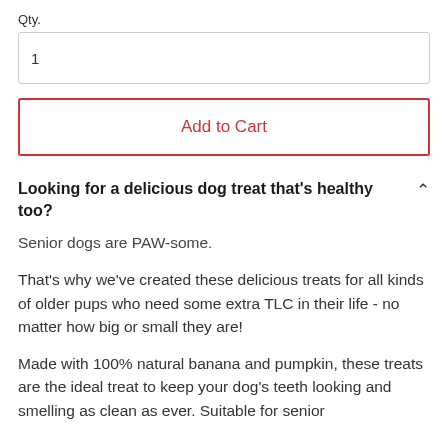Qty.
1
Add to Cart
Looking for a delicious dog treat that's healthy too?
Senior dogs are PAW-some.
That's why we've created these delicious treats for all kinds of older pups who need some extra TLC in their life - no matter how big or small they are!
Made with 100% natural banana and pumpkin, these treats are the ideal treat to keep your dog's teeth looking and smelling as clean as ever. Suitable for senior